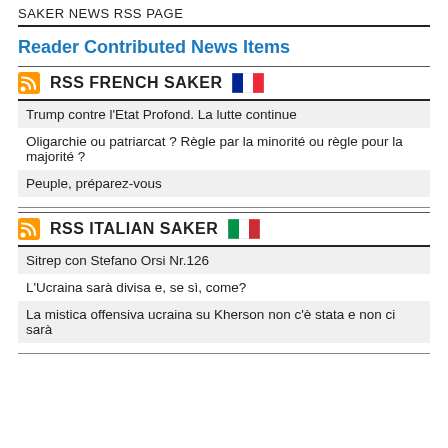SAKER NEWS RSS PAGE
Reader Contributed News Items
RSS FRENCH SAKER
Trump contre l'Etat Profond. La lutte continue
Oligarchie ou patriarcat ? Règle par la minorité ou règle pour la majorité ?
Peuple, préparez-vous
RSS ITALIAN SAKER
Sitrep con Stefano Orsi Nr.126
L'Ucraina sarà divisa e, se sì, come?
La mistica offensiva ucraina su Kherson non c'è stata e non ci sarà